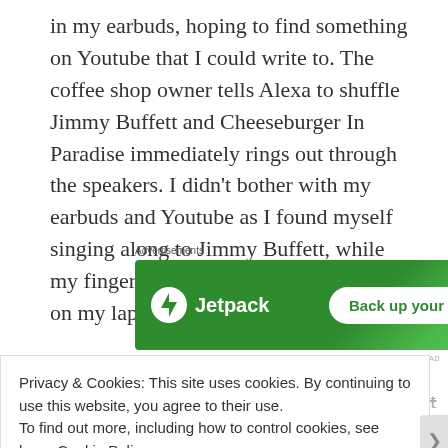in my earbuds, hoping to find something on Youtube that I could write to. The coffee shop owner tells Alexa to shuffle Jimmy Buffett and Cheeseburger In Paradise immediately rings out through the speakers. I didn't bother with my earbuds and Youtube as I found myself singing along to Jimmy Buffett, while my fingers clicked across the keyboard on my laptop.
[Figure (screenshot): Jetpack advertisement banner with green background, Jetpack logo on left, and 'Back up your site' button on right]
Something about listening to Jimmy Buffett helps fuel the
Privacy & Cookies: This site uses cookies. By continuing to use this website, you agree to their use.
To find out more, including how to control cookies, see here: Cookie Policy
Close and accept